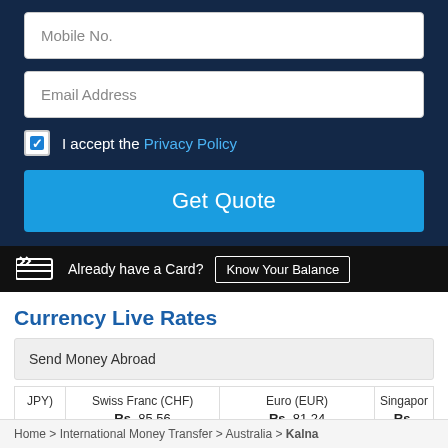Mobile No.
Email Address
I accept the Privacy Policy
Get Quote
Already have a Card?  Know Your Balance
Currency Live Rates
Send Money Abroad
| JPY) | Swiss Franc (CHF) | Euro (EUR) | Singapor |
| --- | --- | --- | --- |
|  | Rs. 85.56 | Rs. 81.24 | Rs. |
Retrieve Quote
View Rate Card
Set Rate Alert
Home > International Money Transfer > Australia > Kalna